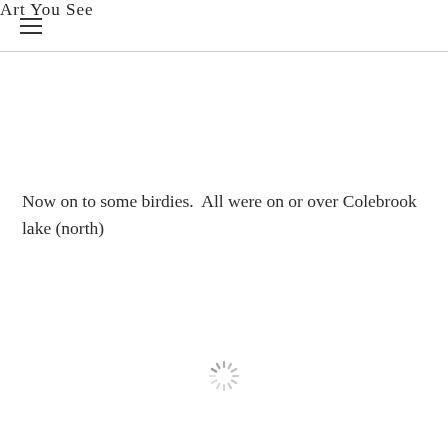Art You See
Now on to some birdies.  All were on or over Colebrook lake (north)
[Figure (other): Loading spinner / sunburst icon — grey radial lines forming a circular spinner symbol]